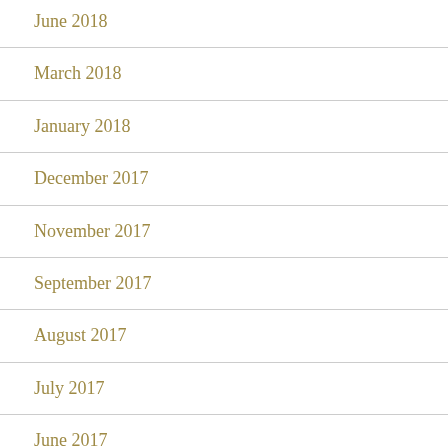June 2018
March 2018
January 2018
December 2017
November 2017
September 2017
August 2017
July 2017
June 2017